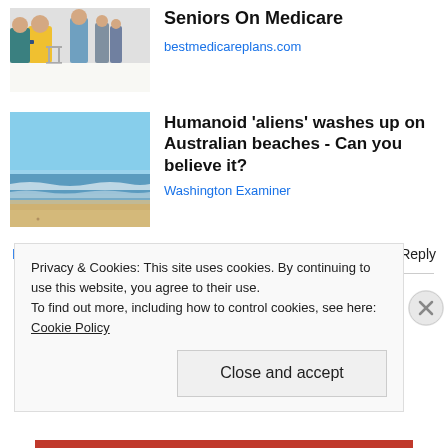[Figure (photo): People with medical equipment in a hallway, partial view]
bestmedicareplans.com
[Figure (photo): Ocean beach with waves and sandy shore under blue sky]
Humanoid 'aliens' washes up on Australian beaches - Can you believe it?
Washington Examiner
November 21, 2014
1 Reply
Privacy & Cookies: This site uses cookies. By continuing to use this website, you agree to their use.
To find out more, including how to control cookies, see here: Cookie Policy
Close and accept